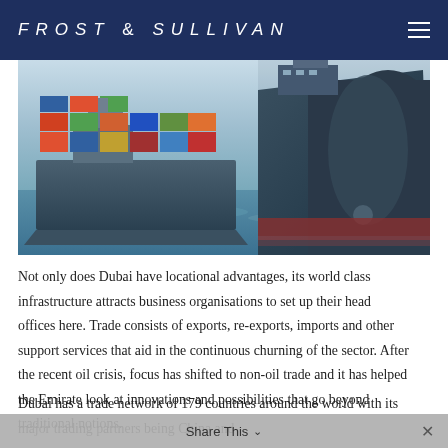FROST & SULLIVAN
[Figure (photo): Two large cargo/container ships on blue water, one on the left loaded with colorful shipping containers and one on the right showing the bow of a large dark-hulled vessel.]
Not only does Dubai have locational advantages, its world class infrastructure attracts business organisations to set up their head offices here. Trade consists of exports, re-exports, imports and other support services that aid in the continuous churning of the sector. After the recent oil crisis, focus has shifted to non-oil trade and it has helped the Emirate look at innovations and possibilities that go beyond traditional notions.
Dubai has a trade network of 179 countries around the world with its major trading partners being China and